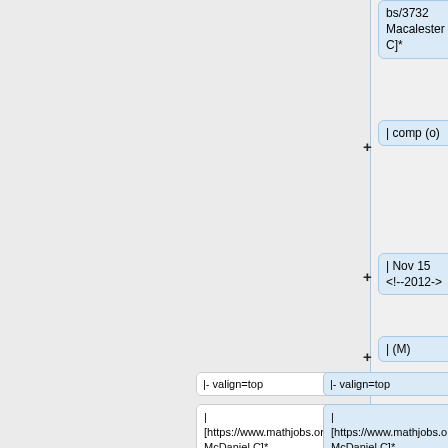bs/3732 Macalester C]*
| comp (o)<!-- Open Rank in Computational Mathematics -->
| Nov 15 <!--2012-->
| (M)
|- valign=top
|- valign=top
| [https://www.mathjobs.org/jobs/879/3993 McDaniel C]*
| [https://www.mathjobs.org/jobs/879/3993 McDaniel C]*
Line 257:
Line 320:
| <!--  (Assistant Professor and Visiting Assistant Professor)-->
| <!--  (Assistant Professor and Visiting Assistant Professor)-->